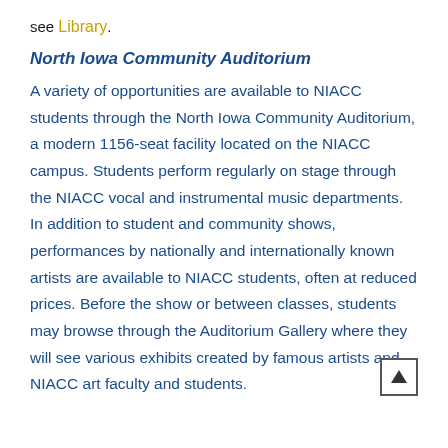see Library.
North Iowa Community Auditorium
A variety of opportunities are available to NIACC students through the North Iowa Community Auditorium, a modern 1156-seat facility located on the NIACC campus. Students perform regularly on stage through the NIACC vocal and instrumental music departments. In addition to student and community shows, performances by nationally and internationally known artists are available to NIACC students, often at reduced prices. Before the show or between classes, students may browse through the Auditorium Gallery where they will see various exhibits created by famous artists and NIACC art faculty and students.